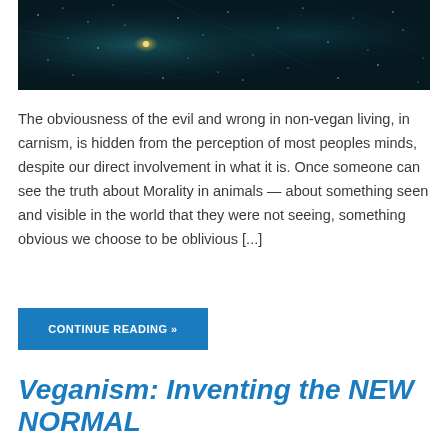[Figure (photo): Dark space/galaxy image with stars and nebula on a dark teal/black background]
The obviousness of the evil and wrong in non-vegan living, in carnism, is hidden from the perception of most peoples minds, despite our direct involvement in what it is. Once someone can see the truth about Morality in animals — about something seen and visible in the world that they were not seeing, something obvious we choose to be oblivious [...]
CONTINUE READING »
Veganism: Inventing the NEW NORMAL